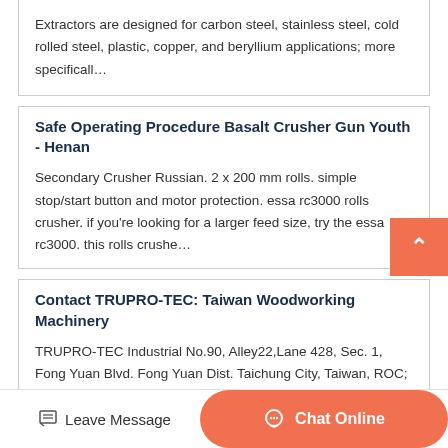Extractors are designed for carbon steel, stainless steel, cold rolled steel, plastic, copper, and beryllium applications; more specificall…
Safe Operating Procedure Basalt Crusher Gun Youth - Henan
Secondary Crusher Russian. 2 x 200 mm rolls. simple stop/start button and motor protection. essa rc3000 rolls crusher. if you're looking for a larger feed size, try the essa rc3000. this rolls crushe…
Contact TRUPRO-TEC: Taiwan Woodworking Machinery
TRUPRO-TEC Industrial No.90, Alley22,Lane 428, Sec. 1, Fong Yuan Blvd. Fong Yuan Dist. Taichung City, Taiwan, ROC; Tel. 886-4-25358299(Rep)